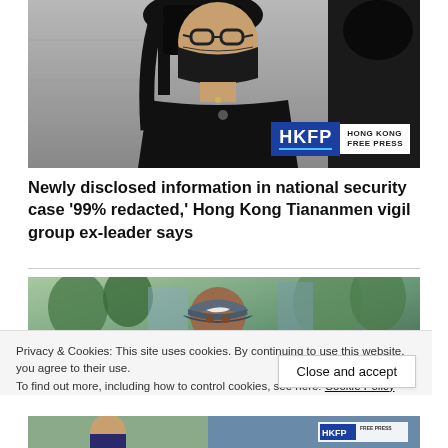[Figure (photo): Person wearing black mask and black clothing with glasses, standing in front of a concrete wall. HKFP Hong Kong Free Press logo visible in bottom right of photo.]
Newly disclosed information in national security case '99% redacted,' Hong Kong Tiananmen vigil group ex-leader says
[Figure (photo): Person wearing a dark Nike baseball cap, photographed outdoors with trees and buildings visible in background.]
Privacy & Cookies: This site uses cookies. By continuing to use this website, you agree to their use.
To find out more, including how to control cookies, see here: Cookie Policy
[Figure (photo): Partial bottom strip showing another news image with HKFP Free Press branding.]